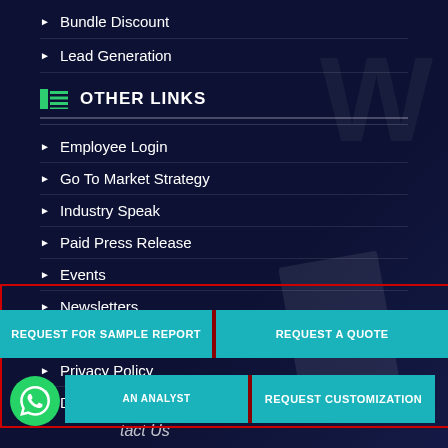Bundle Discount
Lead Generation
OTHER LINKS
Employee Login
Go To Market Strategy
Industry Speak
Paid Press Release
Events
Newsletters
Terms & Conditions
Privacy Policy
Disclaimer
e Map
REQUEST FOR SAMPLE REPORT
REQUEST A QUOTE
AN ANALYST
REQUEST CUSTOMIZATION
tact Us